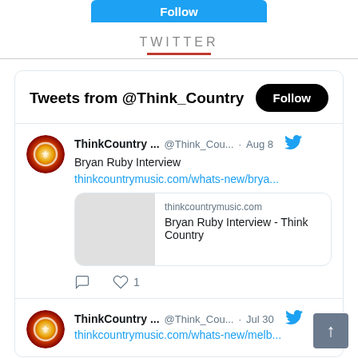[Figure (screenshot): Blue follow button partially visible at top]
TWITTER
Tweets from @Think_Country
ThinkCountry ... @Think_Cou... · Aug 8
Bryan Ruby Interview
thinkcountrymusic.com/whats-new/brya...
thinkcountrymusic.com
Bryan Ruby Interview - Think Country
ThinkCountry ... @Think_Cou... · Jul 30
thinkcountrymusic.com/whats-new/melb...